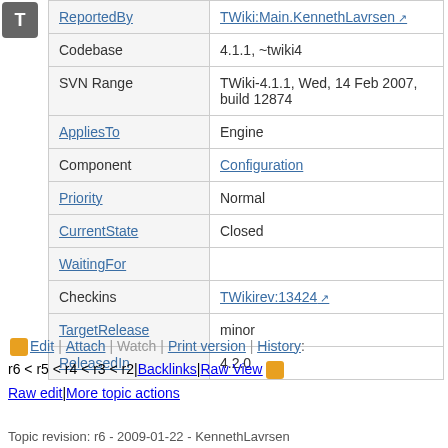| Field | Value |
| --- | --- |
| ReportedBy | TWiki:Main.KennethLavrsen ↗ |
| Codebase | 4.1.1, ~twiki4 |
| SVN Range | TWiki-4.1.1, Wed, 14 Feb 2007, build 12874 |
| AppliesTo | Engine |
| Component | Configuration |
| Priority | Normal |
| CurrentState | Closed |
| WaitingFor |  |
| Checkins | TWikirev:13424 ↗ |
| TargetRelease | minor |
| ReleasedIn | 4.2.0 |
Edit | Attach | Watch | Print version | History: r6 < r5 < r4 < r3 < r2 | Backlinks | Raw View | Raw edit | More topic actions
Topic revision: r6 - 2009-01-22 - KennethLavrsen